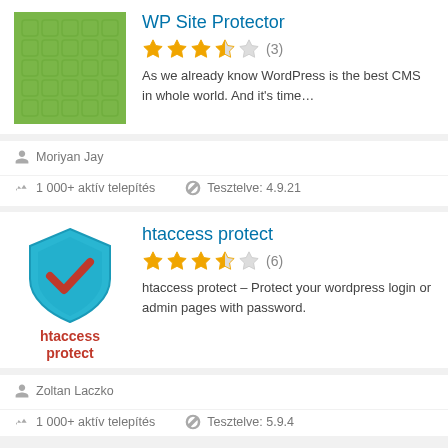[Figure (logo): WP Site Protector plugin logo - green grid pattern]
WP Site Protector
★★★★☆ (3)
As we already know WordPress is the best CMS in whole world. And it's time…
Moriyan Jay
1 000+ aktív telepítés
Tesztelve: 4.9.21
[Figure (logo): htaccess protect plugin logo - blue shield with red checkmark]
htaccess protect
★★★★☆ (6)
htaccess protect – Protect your wordpress login or admin pages with password.
Zoltan Laczko
1 000+ aktív telepítés
Tesztelve: 5.9.4